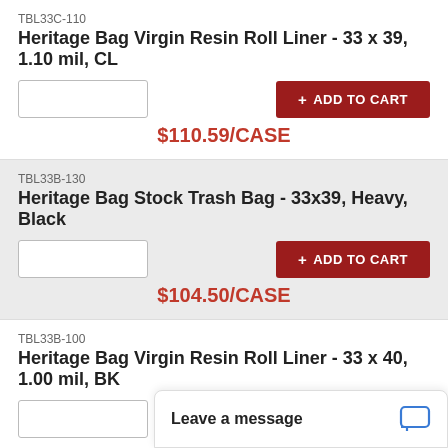TBL33C-110
Heritage Bag Virgin Resin Roll Liner - 33 x 39, 1.10 mil, CL
$110.59/CASE
TBL33B-130
Heritage Bag Stock Trash Bag - 33x39, Heavy, Black
$104.50/CASE
TBL33B-100
Heritage Bag Virgin Resin Roll Liner - 33 x 40, 1.00 mil, BK
$82.50/CASE
TBL60B-120.
Heritage Bag Linear Low...